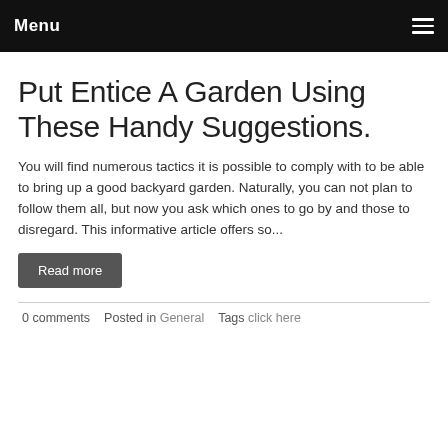Menu
Put Entice A Garden Using These Handy Suggestions.
You will find numerous tactics it is possible to comply with to be able to bring up a good backyard garden. Naturally, you can not plan to follow them all, but now you ask which ones to go by and those to disregard. This informative article offers so...
Read more
0 comments   Posted in General   Tags click here